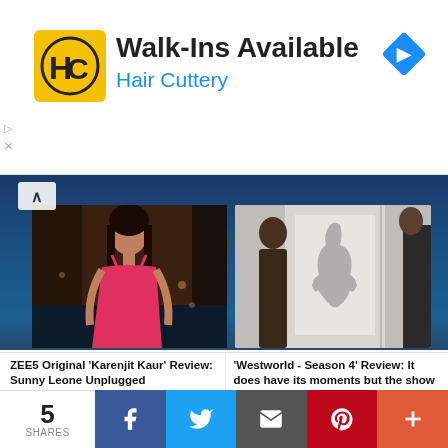[Figure (infographic): Hair Cuttery advertisement banner with yellow logo (HC), text 'Walk-Ins Available' and 'Hair Cuttery', blue navigation arrow diamond icon on right]
[Figure (photo): Young woman in red/pink dress standing indoors - ZEE5 Original Karenjit Kaur article thumbnail]
[Figure (photo): Westworld Season 4 scene with two figures and a humanoid sculpture/shadow in background]
ZEE5 Original 'Karenjit Kaur' Review: Sunny Leone Unplugged
www.apotpourriofvestiges.com
'Westworld - Season 4' Review: It does have its moments but the show i...
www.apotpourriofvestiges.com
5
SHARES